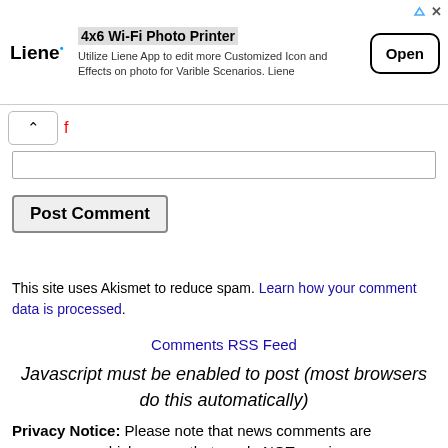[Figure (screenshot): Advertisement banner for Liene 4x6 Wi-Fi Photo Printer with logo, description text, and Open button]
[Figure (screenshot): Comment input area with collapse button and text input field]
[Figure (screenshot): Post Comment button]
This site uses Akismet to reduce spam. Learn how your comment data is processed.
Comments RSS Feed
Javascript must be enabled to post (most browsers do this automatically)
Privacy Notice: Please note that news comments are anonymous, which means that we do NOT require you